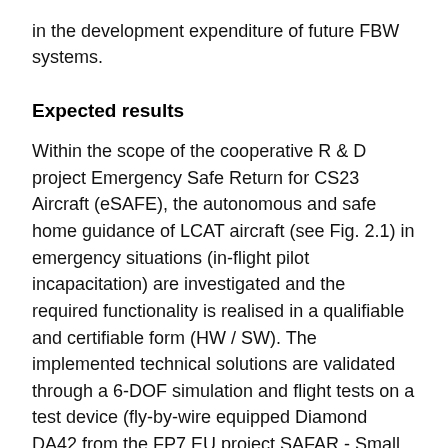in the development expenditure of future FBW systems.
Expected results
Within the scope of the cooperative R & D project Emergency Safe Return for CS23 Aircraft (eSAFE), the autonomous and safe home guidance of LCAT aircraft (see Fig. 2.1) in emergency situations (in-flight pilot incapacitation) are investigated and the required functionality is realised in a qualifiable and certifiable form (HW / SW). The implemented technical solutions are validated through a 6-DOF simulation and flight tests on a test device (fly-by-wire equipped Diamond DA42 from the FP7 EU project SAFAR - Small Aircraft Future Avionics Architecture / LUFO IV FLY SMART